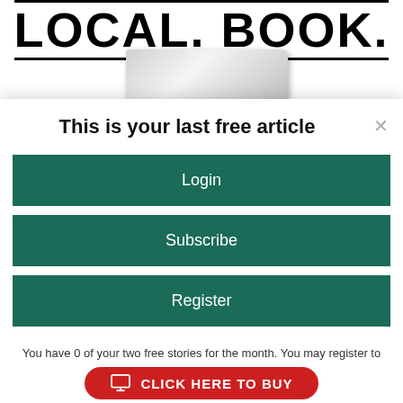[Figure (screenshot): Newspaper header showing 'LOCAL. BOOK.' in bold large type with a book image below]
This is your last free article
Login
Subscribe
Register
You have 0 of your two free stories for the month. You may register to receive two more free stories this month and four stories each month going forward. By registering you'll be opting in to receive our email newsletter and occasional promotions. You may opt out at any time.
[Figure (screenshot): Red pill-shaped button with monitor icon and text 'CLICK HERE TO BUY']